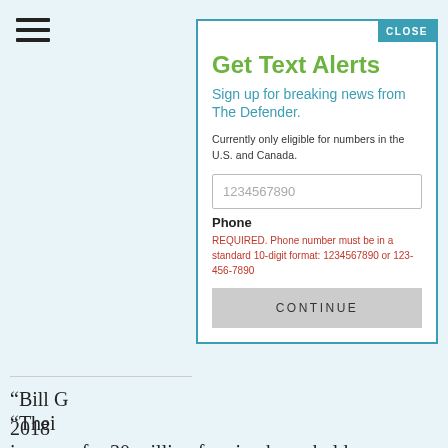[Figure (screenshot): Hamburger menu icon (three horizontal lines) in top left of background page]
“Bill G 2018 led a Gree an ep that d 15-ye Africa
“Thei incomes for 30 million farming households by 2020’ was removed from their website in
Get Text Alerts
Sign up for breaking news from The Defender.
Currently only eligible for numbers in the U.S. and Canada.
1234567890
Phone
REQUIRED. Phone number must be in a standard 10-digit format: 1234567890 or 123-456-7890
CONTINUE